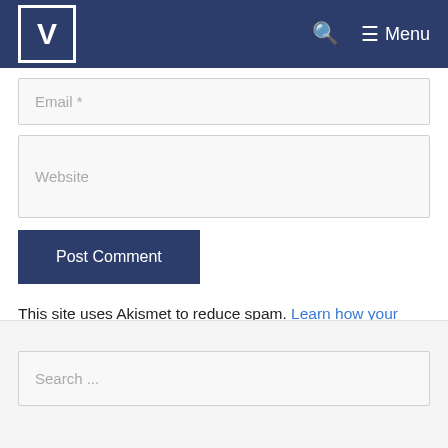V | Search | Menu
[Figure (screenshot): Email input field with placeholder text 'Email *']
[Figure (screenshot): Website input field with placeholder text 'Website']
[Figure (screenshot): Post Comment button]
This site uses Akismet to reduce spam. Learn how your comment data is processed.
[Figure (screenshot): Search input field with placeholder text 'Search ...']